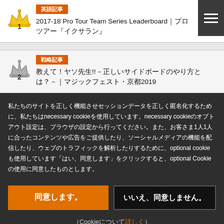英語記事 | 2017-18 Pro Tour Team Series Leaderboard｜プロツアー『イクサラン』
戦略記事 | 教えて！ヤソ先生!!－正しいサイドボードのやり方とは？－｜マジックフェスト・京都2019
私たちのサイトを正しく機能させセッションデータを正しく匿名化するために、私たちはnecessary cookieを使用しています。necessary cookieのオプトアウト設定は、ブラウザの設定から行ってください。また、お客さま1人1人に合ったコンテンツや広告をご提供したり、ソーシャルメディアの機能を配信したり、ウェブのトラフィックを解析したりするために、optional cookieも使用しています「はい、同意します」をクリックすると、optional Cookieの使用に同意したものとします。
同意します。
いいえ、同意しません。
（Cookieについて詳しく）